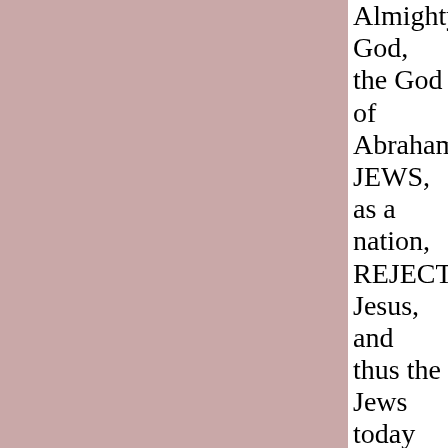Almighty God, the God of Abraham. The JEWS, as a nation, REJECTED Jesus, and thus the Jews today do NOT believe that Jesus is the Christ and